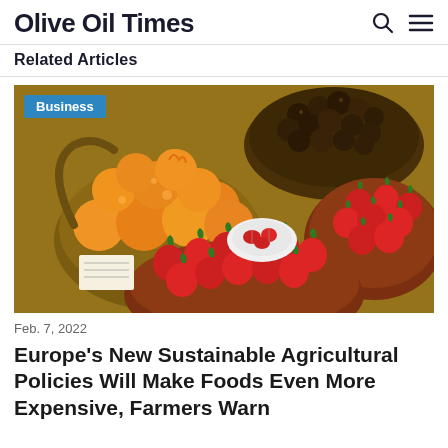Olive Oil Times
Related Articles
[Figure (photo): Baskets filled with oranges, dark dried fruits, and strawberries at a market, with a plate of sliced strawberries in the center. A blue 'Business' badge overlays the top-left corner.]
Feb. 7, 2022
Europe's New Sustainable Agricultural Policies Will Make Foods Even More Expensive, Farmers Warn